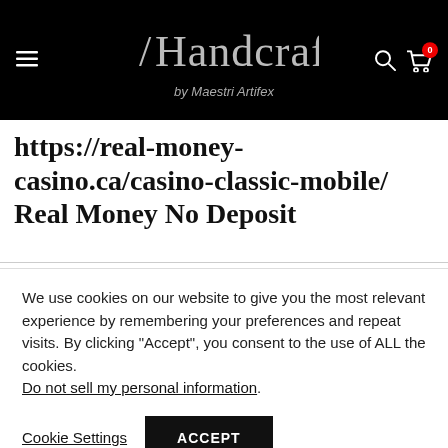HandcraftIT by Maestri Artifex
https://real-money-casino.ca/casino-classic-mobile/ Real Money No Deposit
We use cookies on our website to give you the most relevant experience by remembering your preferences and repeat visits. By clicking “Accept”, you consent to the use of ALL the cookies. Do not sell my personal information.
Cookie Settings | ACCEPT